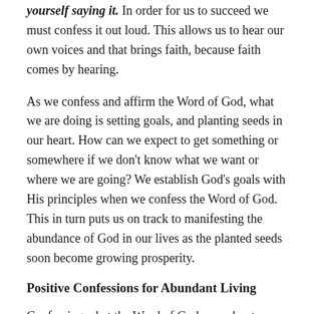yourself saying it. In order for us to succeed we must confess it out loud. This allows us to hear our own voices and that brings faith, because faith comes by hearing.
As we confess and affirm the Word of God, what we are doing is setting goals, and planting seeds in our heart. How can we expect to get something or somewhere if we don't know what we want or where we are going? We establish God's goals with His principles when we confess the Word of God. This in turn puts us on track to manifesting the abundance of God in our lives as the planted seeds soon become growing prosperity.
Positive Confessions for Abundant Living
Confessing what the Word of God says about you will change your life. Even the most negative people have gotten results after only putting this into practice for a